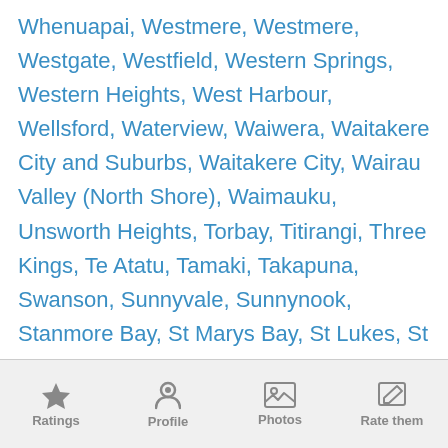Whenuapai, Westmere, Westmere, Westgate, Westfield, Western Springs, Western Heights, West Harbour, Wellsford, Waterview, Waiwera, Waitakere City and Suburbs, Waitakere City, Wairau Valley (North Shore), Waimauku, Unsworth Heights, Torbay, Titirangi, Three Kings, Te Atatu, Tamaki, Takapuna, Swanson, Sunnyvale, Sunnynook, Stanmore Bay, St Marys Bay, St Lukes, St Johns, St Heliers, Silverdale, Sandringham, Royal Oak, Royal Heights, Rothesay Bay, Rosedale (Auckland), Rodney Area, Riverhead, Remuera, Red Beach, Ranui Heights, Ranui, Ponsonby, Point Chevalier, Pine Hill, Penrose, Parnell, Panmure, Owairaka, Otahuhu, Orewa,
Ratings | Profile | Photos | Rate them